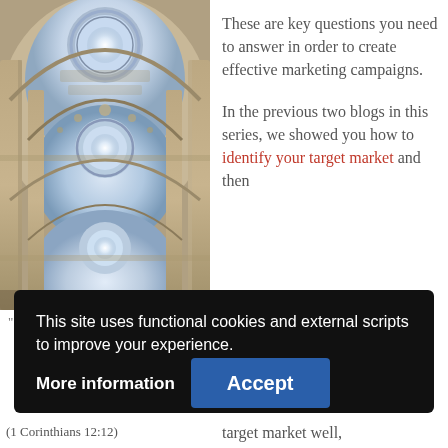[Figure (photo): Architectural photo looking up at ornate classical domed ceilings with circular oculi emitting light, columns and decorative stonework visible]
These are key questions you need to answer in order to create effective marketing campaigns.
In the previous two blogs in this series, we showed you how to identify your target market and then
This site uses functional cookies and external scripts to improve your experience.
More information
Accept
(1 Corinthians 12:12)
target market well,